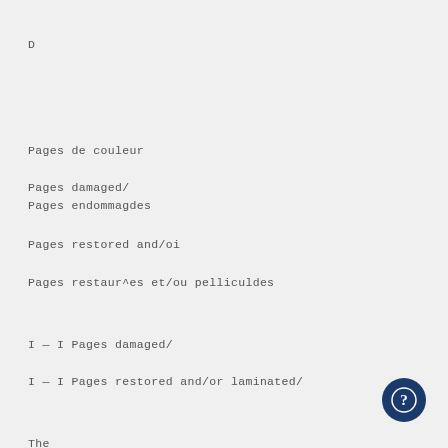D
Pages de couleur
Pages damaged/
Pages endommagdes
Pages restored and/oi
Pages restaur^es et/ou pelliculdes
I — I Pages damaged/
I — I Pages restored and/or laminated/
The